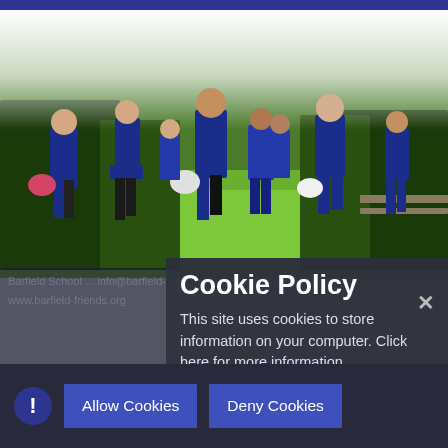[Figure (photo): Group of school children in blue uniforms walking on a grass field, some carrying sports helmets, with trees in background. Photo has a white fade at the top.]
Cookie Policy
This site uses cookies to store information on your computer. Click here for more information
Allow Cookies
Deny Cookies